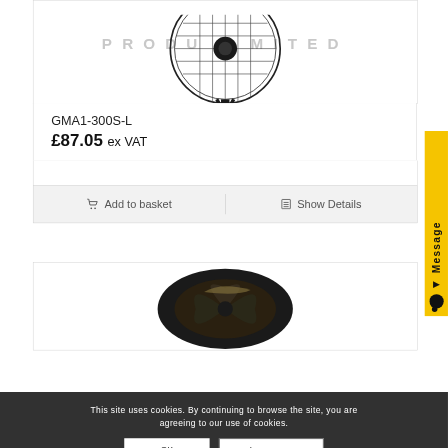[Figure (photo): Top portion of a product listing page showing a black industrial fan with cage guard, with a watermark text reading 'PRODUCTS LIMITED' partially visible in gray]
GMA1-300S-L
£87.05 ex VAT
[Figure (screenshot): Add to basket and Show Details buttons in a gray action bar]
[Figure (photo): Bottom product image showing a dark-colored fan blade/propeller on white background]
[Figure (other): Yellow Message tab on right side with speech bubble icon and vertical text 'Message']
This site uses cookies. By continuing to browse the site, you are agreeing to our use of cookies.
OK
Learn more